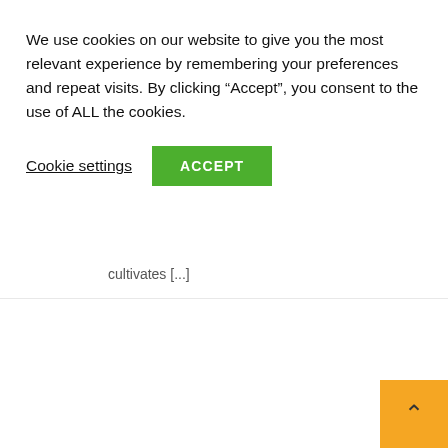We use cookies on our website to give you the most relevant experience by remembering your preferences and repeat visits. By clicking “Accept”, you consent to the use of ALL the cookies.
Cookie settings | ACCEPT
cultivates [...]
[Figure (photo): Thumbnail photo of a black cat playing fetch indoors near a door]
Adorable Black Cat Has a Ball Playing Fetch! #BlackCats #Cats #Shorts
In Pets & Animals
August 18, 2022
Fun Animal Fact: black cats taught dogs 🤩💥🎾 the art of fetch! (VIA – Nikki.) #FunnyCats #CuteCats #FunniestCats #BlackCatAppreciatio #CatMemes #Kittens #Cats #Shorts #Funny For spoiling, nurturing and whole-heartedly pet-obsessed, The Pet Collective is a playground that cultivates [...]